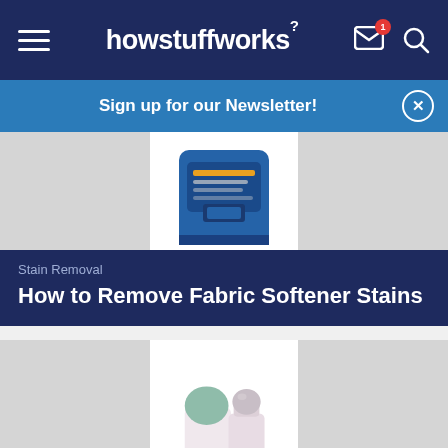howstuffworks
Sign up for our Newsletter!
[Figure (photo): Blue detergent container partially visible at top of card]
Stain Removal
How to Remove Fabric Softener Stains
[Figure (photo): Two deodorant/antiperspirant sticks, one green-capped and one pink roller-ball type]